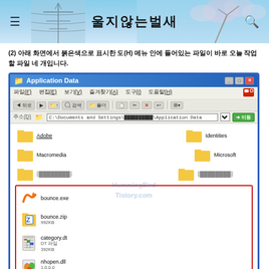울지않는벌새
(2) 아래 화면에서 붉은색으로 표시한 도(H) 메뉴 안에 들어있는 파일이 바로 오늘 작업할 파일 네 개입니다.
[Figure (screenshot): Windows XP Explorer window showing Application Data folder contents. Folders include Adobe, Identities, Macromedia, Microsoft, and two blurred folders. Highlighted in a red box are four files: bounce.exe, bounce.zip (992KB), category.dt (DT 파일, 392KB), and nhopen.dll (1.0.0.0, nhopen). Status bar shows 10 개체, 2.17MB, 내 컴퓨터. Watermark reads HummingBird Tistory.com.]